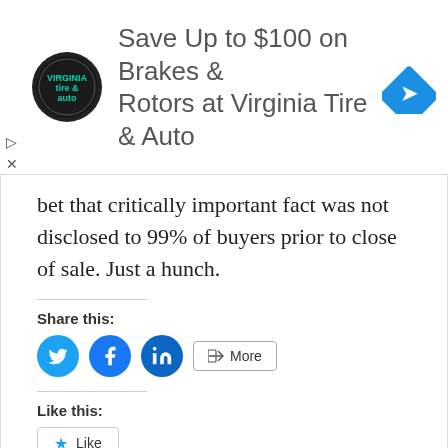[Figure (screenshot): Advertisement banner: Virginia Tire & Auto logo, text 'Save Up to $100 on Brakes & Rotors at Virginia Tire & Auto', blue diamond navigation icon on right. Skip/close buttons on left.]
bet that critically important fact was not disclosed to 99% of buyers prior to close of sale. Just a hunch.
Share this:
[Figure (screenshot): Social share buttons: Twitter (blue circle with bird), Facebook (blue circle with f), LinkedIn (blue circle with in), and a More button with share icon.]
Like this:
[Figure (screenshot): Like button with star icon and 'Like' text inside a rounded rectangle button.]
Be the first to like this.
Related